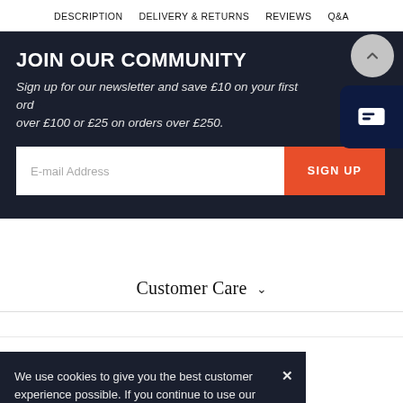DESCRIPTION   DELIVERY & RETURNS   REVIEWS   Q&A
JOIN OUR COMMUNITY
Sign up for our newsletter and save £10 on your first order over £100 or £25 on orders over £250.
E-mail Address   SIGN UP
Customer Care
We use cookies to give you the best customer experience possible. If you continue to use our website, we will assume you are happy to receive cookies from us and our partners. View Privacy and Cookie policy.